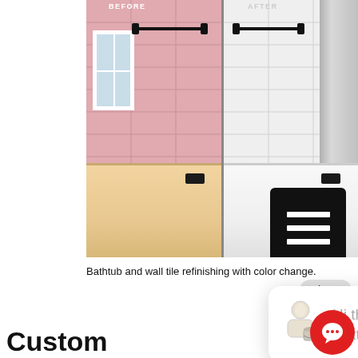[Figure (photo): Before and after comparison of bathroom bathtub and wall tile refinishing. Left side shows pink tiles and peach/pink bathtub (BEFORE). Right side shows white tiles and white bathtub (AFTER). A black hamburger menu icon overlaps the right side.]
Bathtub and wall tile refinishing with color change.
close
Hi there, have a question? Text us here.
Custom
The Surface R
allows you hav
Williams color chart. So this is a great option for those who love color and want to have their “tubs on trend” today’s home decor fashions.
1. Clicking on the image below takes you to the Sherwin